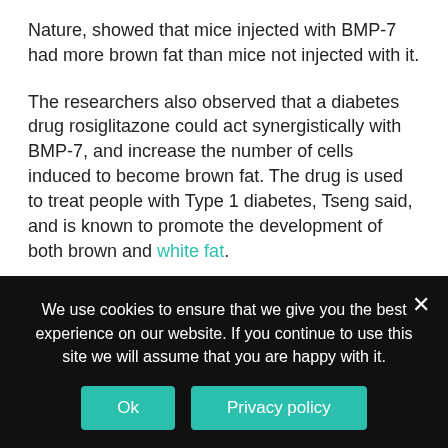Nature, showed that mice injected with BMP-7 had more brown fat than mice not injected with it.
The researchers also observed that a diabetes drug rosiglitazone could act synergistically with BMP-7, and increase the number of cells induced to become brown fat. The drug is used to treat people with Type 1 diabetes, Tseng said, and is known to promote the development of both brown and white fat.
“As an obesity researcher, I think, for most people, to lose weight you have to exercise,” Tseng said. “But for some people genetically-predisposed to obesity, or for who being overweight has caused severe metabolic disorders, this could be the answer…
We use cookies to ensure that we give you the best experience on our website. If you continue to use this site we will assume that you are happy with it.